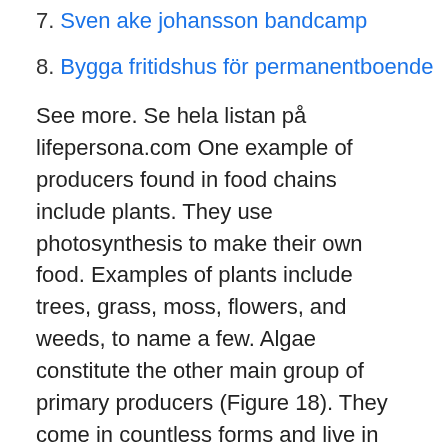7. Sven ake johansson bandcamp
8. Bygga fritidshus för permanentboende
See more. Se hela listan på lifepersona.com One example of producers found in food chains include plants. They use photosynthesis to make their own food. Examples of plants include trees, grass, moss, flowers, and weeds, to name a few. Algae constitute the other main group of primary producers (Figure 18). They come in countless forms and live in nearly all kinds of environments.
Publications f3 centre